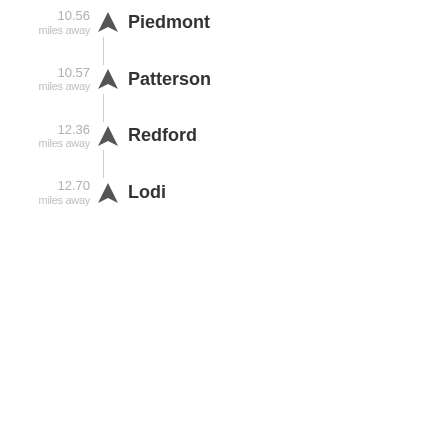10.56 miles away — Piedmont
10.57 miles away — Patterson
12.36 miles away — Redford
12.70 miles away — Lodi